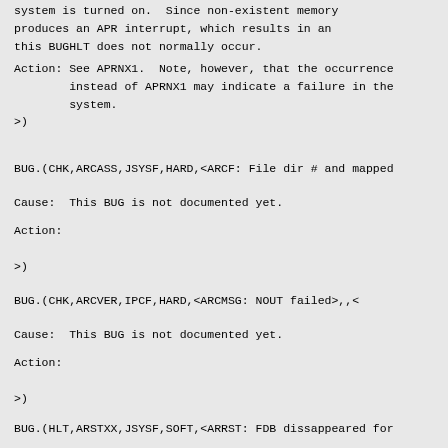system is turned on. Since non-existent memory
produces an APR interrupt, which results in an
this BUGHLT does not normally occur.
Action: See APRNX1. Note, however, that the occurrence
        instead of APRNX1 may indicate a failure in the
        system.
>)
BUG.(CHK,ARCASS,JSYSF,HARD,<ARCF: File dir # and mapped
Cause:  This BUG is not documented yet.
Action:

>)
BUG.(CHK,ARCVER,IPCF,HARD,<ARCMSG: NOUT failed>,,<
Cause:  This BUG is not documented yet.
Action:

>)
BUG.(HLT,ARSTXX,JSYSF,SOFT,<ARRST: FDB dissappeared for